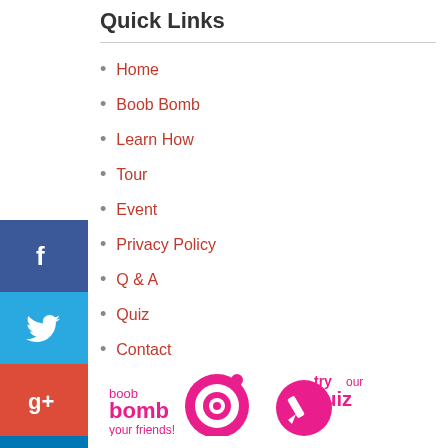Quick Links
Home
Boob Bomb
Learn How
Tour
Event
Privacy Policy
Q & A
Quiz
Contact
[Figure (logo): Boob Bomb logo - pink circle with eye graphic, text 'boob bomb your friends!']
[Figure (logo): Try our quiz logo - pink circle with pencil graphic, text 'try our quiz']